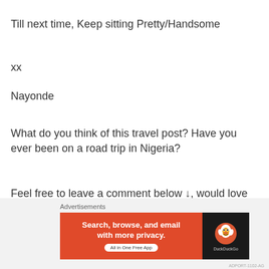Till next time, Keep sitting Pretty/Handsome
xx
Nayonde
What do you think of this travel post? Have you ever been on a road trip in Nigeria?
Feel free to leave a comment below ↓, would love to hear from you.
[Figure (other): WooCommerce advertisement banner with purple gradient background]
Advertisements
[Figure (other): DuckDuckGo advertisement banner: Search, browse, and email with more privacy. All in One Free App]
Advertisements